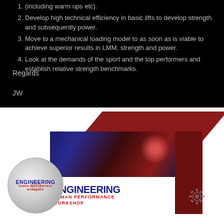(including warm ups etc).
Develop high technical efficiency in basic lifts to develop strength and subsequently power.
Move to a mechanical loading model to as soon as is viable to achieve superior results in LMM, strength and power.
Look at the demands of the sport and the top performers and establish relative strength benchmarks.
Regards
JW
[Figure (photo): Product box and disc for 'Engineering Human Performance Workshop' — a red box with an athlete on the front label and a matching CD/DVD disc to the left.]